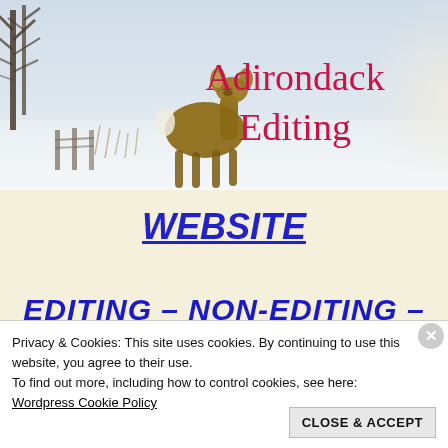[Figure (photo): Header image showing a deer standing in a snowy winter landscape with bare trees, overlaid with the text 'Adirondack Editing' in red serif font]
WEBSITE
EDITING – NON-EDITING – BOOK
Privacy & Cookies: This site uses cookies. By continuing to use this website, you agree to their use.
To find out more, including how to control cookies, see here:
Wordpress Cookie Policy
CLOSE & ACCEPT